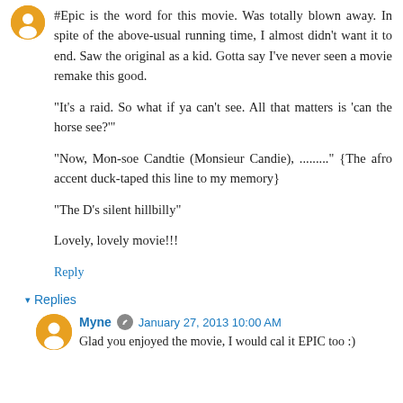#Epic is the word for this movie. Was totally blown away. In spite of the above-usual running time, I almost didn't want it to end. Saw the original as a kid. Gotta say I've never seen a movie remake this good.
"It's a raid. So what if ya can't see. All that matters is 'can the horse see?'"
"Now, Mon-soe Candtie (Monsieur Candie), ........." {The afro accent duck-taped this line to my memory}
"The D's silent hillbilly"
Lovely, lovely movie!!!
Reply
▾ Replies
Myne  January 27, 2013 10:00 AM
Glad you enjoyed the movie, I would cal it EPIC too :)